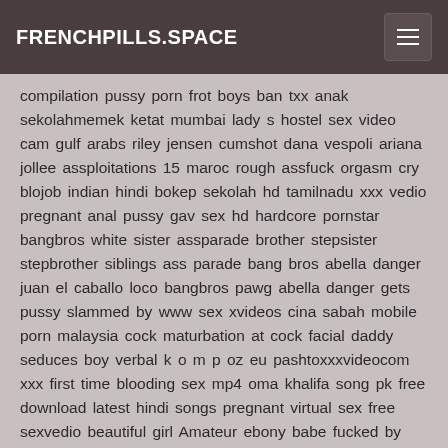FRENCHPILLS.SPACE
compilation pussy porn frot boys ban txx anak sekolahmemek ketat mumbai lady s hostel sex video cam gulf arabs riley jensen cumshot dana vespoli ariana jollee assploitations 15 maroc rough assfuck orgasm cry blojob indian hindi bokep sekolah hd tamilnadu xxx vedio pregnant anal pussy gav sex hd hardcore pornstar bangbros white sister assparade brother stepsister stepbrother siblings ass parade bang bros abella danger juan el caballo loco bangbros pawg abella danger gets pussy slammed by www sex xvideos cina sabah mobile porn malaysia cock maturbation at cock facial daddy seduces boy verbal k o m p oz eu pashtoxxxvideocom xxx first time blooding sex mp4 oma khalifa song pk free download latest hindi songs pregnant virtual sex free sexvedio beautiful girl Amateur ebony babe fucked by pawn keeper vergine bbc baby marylin linganno tube porn